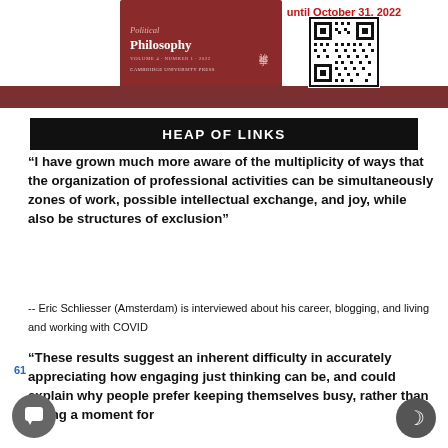[Figure (illustration): Journal cover for a philosophy publication with red background, white text reading 'Philosophy', Chinese characters on the right side, and small subtitle text.]
[Figure (other): QR code with text 'until October 31, 2022' above it in red bold text.]
HEAP OF LINKS
“I have grown much more aware of the multiplicity of ways that the organization of professional activities can be simultaneously zones of work, possible intellectual exchange, and joy, while also be structures of exclusion”
-- Eric Schliesser (Amsterdam) is interviewed about his career, blogging, and living and working with COVID
“These results suggest an inherent difficulty in accurately appreciating how engaging just thinking can be, and could explain why people prefer keeping themselves busy, rather than taking a moment for